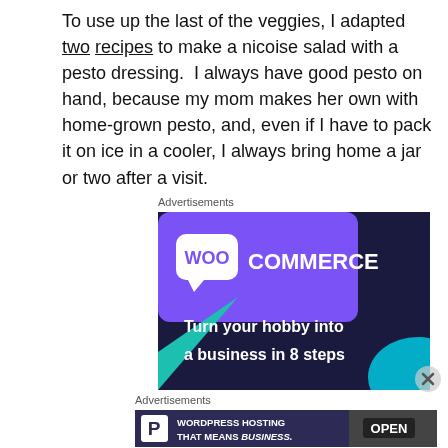To use up the last of the veggies, I adapted two recipes to make a nicoise salad with a pesto dressing. I always have good pesto on hand, because my mom makes her own with home-grown pesto, and, even if I have to pack it on ice in a cooler, I always bring home a jar or two after a visit.
Advertisements
[Figure (other): WooCommerce advertisement: purple and dark navy background with teal triangle accent, WooCommerce logo (speech bubble with WOO text), headline: Turn your hobby into a business in 8 steps]
Advertisements
[Figure (other): Pressable WordPress Hosting advertisement: dark purple background, large P logo on left, text: WORDPRESS HOSTING THAT MEANS BUSINESS. Photo of OPEN sign on right]